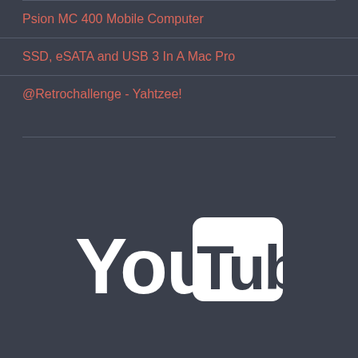Psion MC 400 Mobile Computer
SSD, eSATA and USB 3 In A Mac Pro
@Retrochallenge - Yahtzee!
[Figure (logo): YouTube logo in white on dark background]